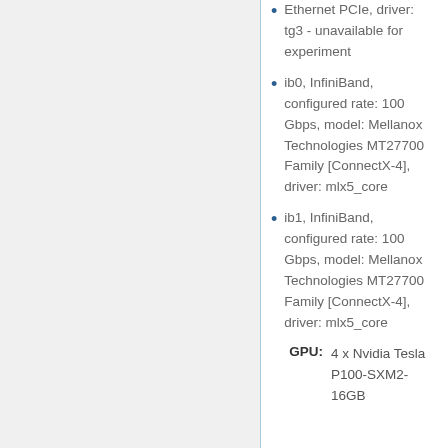Ethernet PCIe, driver: tg3 - unavailable for experiment
ib0, InfiniBand, configured rate: 100 Gbps, model: Mellanox Technologies MT27700 Family [ConnectX-4], driver: mlx5_core
ib1, InfiniBand, configured rate: 100 Gbps, model: Mellanox Technologies MT27700 Family [ConnectX-4], driver: mlx5_core
GPU: 4 x Nvidia Tesla P100-SXM2-16GB